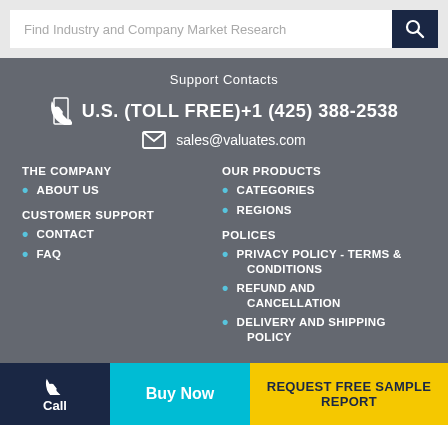[Figure (screenshot): Search bar with placeholder text 'Find Industry and Company Market Research' and a dark navy search button with magnifying glass icon]
Support Contacts
U.S. (TOLL FREE)+1 (425) 388-2538
sales@valuates.com
THE COMPANY
ABOUT US
CUSTOMER SUPPORT
CONTACT
FAQ
OUR PRODUCTS
CATEGORIES
REGIONS
POLICES
PRIVACY POLICY - TERMS & CONDITIONS
REFUND AND CANCELLATION
DELIVERY AND SHIPPING POLICY
Call
Buy Now
REQUEST FREE SAMPLE REPORT